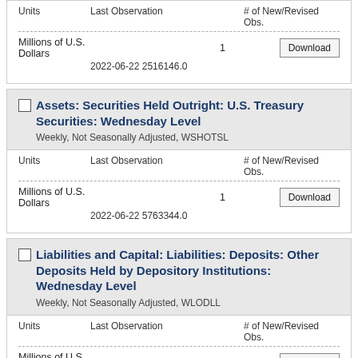| Units | Last Observation | # of New/Revised Obs. |
| --- | --- | --- |
| Millions of U.S. Dollars | 2022-06-22 2516146.0 | 1 |
Assets: Securities Held Outright: U.S. Treasury Securities: Wednesday Level
Weekly, Not Seasonally Adjusted, WSHOTSL
| Units | Last Observation | # of New/Revised Obs. |
| --- | --- | --- |
| Millions of U.S. Dollars | 2022-06-22 5763344.0 | 1 |
Liabilities and Capital: Liabilities: Deposits: Other Deposits Held by Depository Institutions: Wednesday Level
Weekly, Not Seasonally Adjusted, WLODLL
| Units | Last Observation | # of New/Revised Obs. |
| --- | --- | --- |
| Millions of U.S. Dollars | 2022-06-22 3115594.0 | 1 |